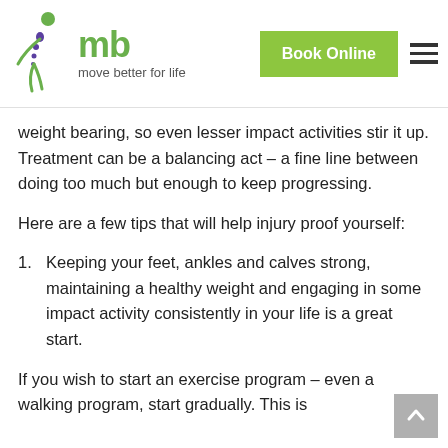mb move better for life | Book Online
weight bearing, so even lesser impact activities stir it up. Treatment can be a balancing act – a fine line between doing too much but enough to keep progressing.
Here are a few tips that will help injury proof yourself:
1. Keeping your feet, ankles and calves strong, maintaining a healthy weight and engaging in some impact activity consistently in your life is a great start.
If you wish to start an exercise program – even a walking program, start gradually. This is